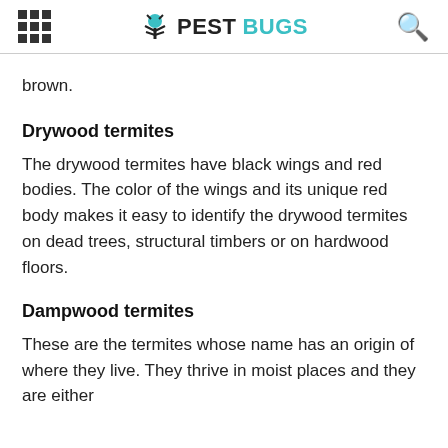PESTBUGS
brown.
Drywood termites
The drywood termites have black wings and red bodies. The color of the wings and its unique red body makes it easy to identify the drywood termites on dead trees, structural timbers or on hardwood floors.
Dampwood termites
These are the termites whose name has an origin of where they live. They thrive in moist places and they are either